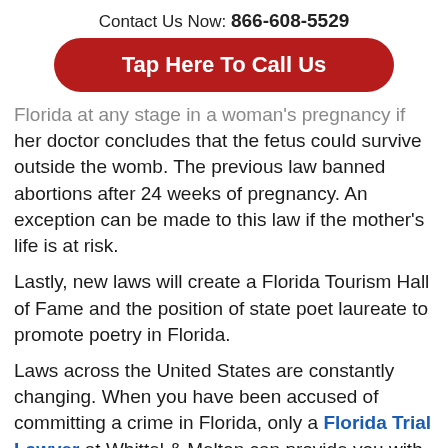Contact Us Now: 866-608-5529
Tap Here To Call Us
Florida at any stage in a woman's pregnancy if her doctor concludes that the fetus could survive outside the womb. The previous law banned abortions after 24 weeks of pregnancy. An exception can be made to this law if the mother's life is at risk.
Lastly, new laws will create a Florida Tourism Hall of Fame and the position of state poet laureate to promote poetry in Florida.
Laws across the United States are constantly changing. When you have been accused of committing a crime in Florida, only a Florida Trial Lawyer at Whittel & Melton can provide you with the legal representation that you need. While